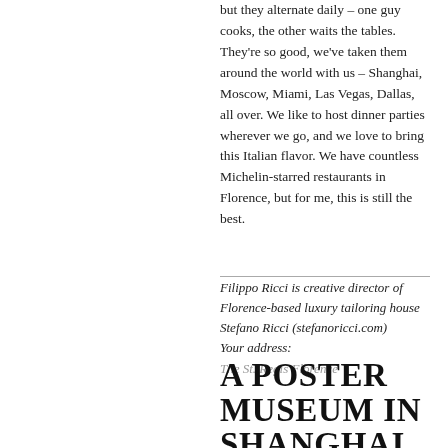but they alternate daily – one guy cooks, the other waits the tables. They're so good, we've taken them around the world with us – Shanghai, Moscow, Miami, Las Vegas, Dallas, all over. We like to host dinner parties wherever we go, and we love to bring this Italian flavor. We have countless Michelin-starred restaurants in Florence, but for me, this is still the best.
Filippo Ricci is creative director of Florence-based luxury tailoring house Stefano Ricci (stefanoricci.com) Your address: The St. Regis Florence
A POSTER MUSEUM IN SHANGHAI BY